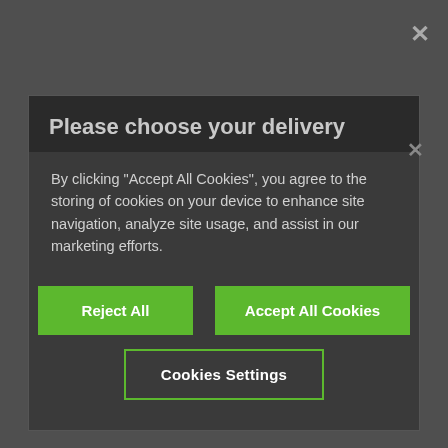[Figure (screenshot): Cookie consent modal dialog overlaying the igus website. Modal has dark background with title 'Please choose your delivery', body text about cookies, and three buttons: 'Reject All', 'Accept All Cookies', and 'Cookies Settings'. Behind the modal the igus website is visible with logo, orange navigation bar, and breadcrumb navigation showing Rod end product page.]
Please choose your delivery
By clicking "Accept All Cookies", you agree to the storing of cookies on your device to enhance site navigation, analyze site usage, and assist in our marketing efforts.
Reject All
Accept All Cookies
Cookies Settings
igus plastics for longer life® (0)
Menu
Home ...
Rod end with female thread, KCRM, spherical ball iglidur® J, mm